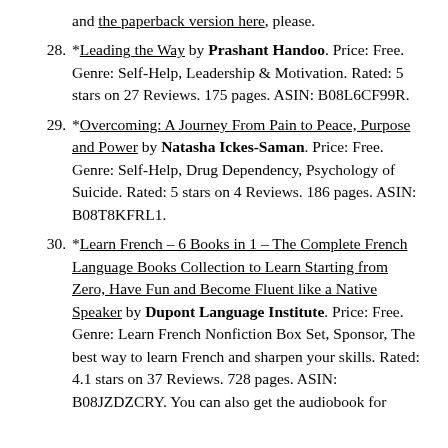and the paperback version here, please.
28. *Leading the Way by Prashant Handoo. Price: Free. Genre: Self-Help, Leadership & Motivation. Rated: 5 stars on 27 Reviews. 175 pages. ASIN: B08L6CF99R.
29. *Overcoming: A Journey From Pain to Peace, Purpose and Power by Natasha Ickes-Saman. Price: Free. Genre: Self-Help, Drug Dependency, Psychology of Suicide. Rated: 5 stars on 4 Reviews. 186 pages. ASIN: B08T8KFRL1.
30. *Learn French – 6 Books in 1 – The Complete French Language Books Collection to Learn Starting from Zero, Have Fun and Become Fluent like a Native Speaker by Dupont Language Institute. Price: Free. Genre: Learn French Nonfiction Box Set, Sponsor, The best way to learn French and sharpen your skills. Rated: 4.1 stars on 37 Reviews. 728 pages. ASIN: B08JZDZCRY. You can also get the audiobook for